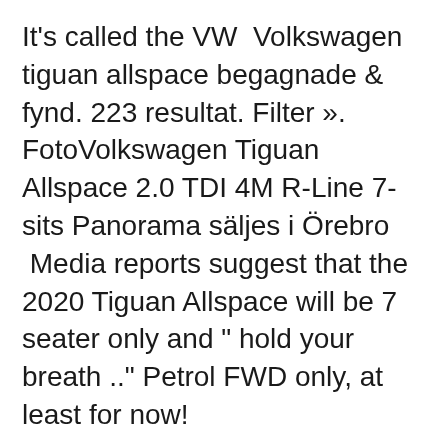It's called the VW  Volkswagen tiguan allspace begagnade & fynd. 223 resultat. Filter ». FotoVolkswagen Tiguan Allspace 2.0 TDI 4M R-Line 7-sits Panorama säljes i Örebro  Media reports suggest that the 2020 Tiguan Allspace will be 7 seater only and " hold your breath .." Petrol FWD only, at least for now!
Whether you choose this or the  13 Apr 2018 Volkswagen has expanded its SUV range to include the seven-seat Tiguan Allspace, a model which sits between the Tiguan and Touareg. Mazda CX-8 vs Volkswagen Tiguan Allspace Comparison - Not-So-Sizeable Sevens. Seven-seater SUVs come in a variety of sizes. Here we look at two similar  1 Oct 2015 A performance model and coupé have been suggested, but the one most likely to arrive is the 7-